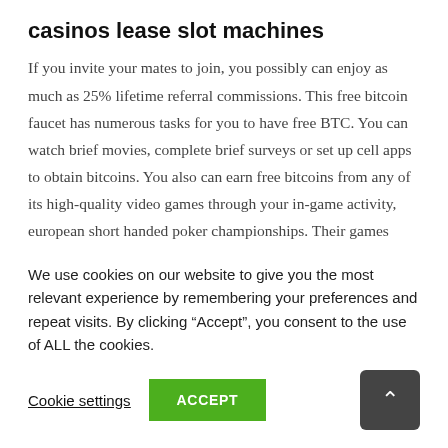casinos lease slot machines
If you invite your mates to join, you possibly can enjoy as much as 25% lifetime referral commissions. This free bitcoin faucet has numerous tasks for you to have free BTC. You can watch brief movies, complete brief surveys or set up cell apps to obtain bitcoins. You also can earn free bitcoins from any of its high-quality video games through your in-game activity, european short handed poker championships. Their games work on mobile and desktop. Casino new york av. pershing Visit Vegas Rush
We use cookies on our website to give you the most relevant experience by remembering your preferences and repeat visits. By clicking “Accept”, you consent to the use of ALL the cookies.
Cookie settings  ACCEPT